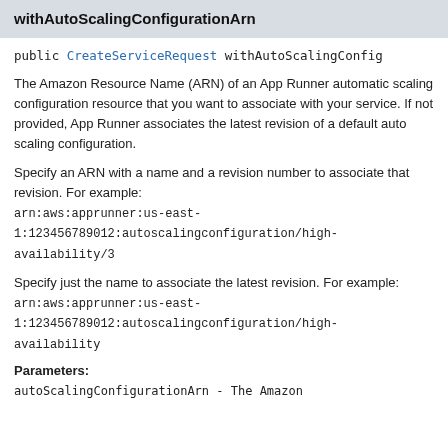withAutoScalingConfigurationArn
public CreateServiceRequest withAutoScalingConfig
The Amazon Resource Name (ARN) of an App Runner automatic scaling configuration resource that you want to associate with your service. If not provided, App Runner associates the latest revision of a default auto scaling configuration.
Specify an ARN with a name and a revision number to associate that revision. For example: arn:aws:apprunner:us-east-1:123456789012:autoscalingconfiguration/high-availability/3
Specify just the name to associate the latest revision. For example: arn:aws:apprunner:us-east-1:123456789012:autoscalingconfiguration/high-availability
Parameters:
autoScalingConfigurationArn - The Amazon